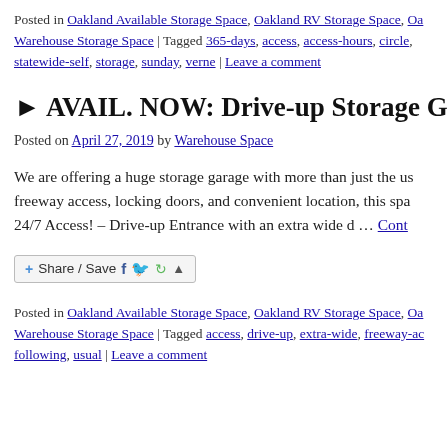Posted in Oakland Available Storage Space, Oakland RV Storage Space, Oa Warehouse Storage Space | Tagged 365-days, access, access-hours, circle, statewide-self, storage, sunday, verne | Leave a comment
► AVAIL. NOW: Drive-up Storage Garage Access (oakland piedmont / montclair) $2
Posted on April 27, 2019 by Warehouse Space
We are offering a huge storage garage with more than just the us freeway access, locking doors, and convenient location, this spa 24/7 Access! – Drive-up Entrance with an extra wide d … Cont
[Figure (other): Share/Save button with Facebook, Twitter, and other social sharing icons]
Posted in Oakland Available Storage Space, Oakland RV Storage Space, Oa Warehouse Storage Space | Tagged access, drive-up, extra-wide, freeway-ac following, usual | Leave a comment